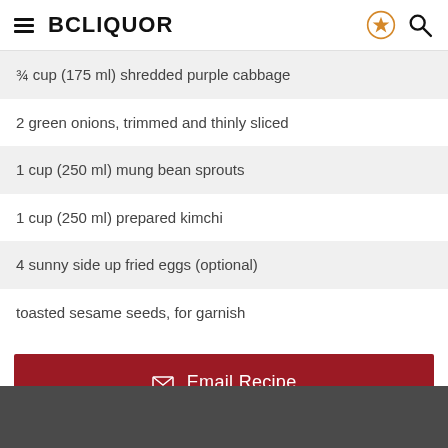BCLIQUOR
¾ cup (175 ml) shredded purple cabbage
2 green onions, trimmed and thinly sliced
1 cup (250 ml) mung bean sprouts
1 cup (250 ml) prepared kimchi
4 sunny side up fried eggs (optional)
toasted sesame seeds, for garnish
Email Recipe